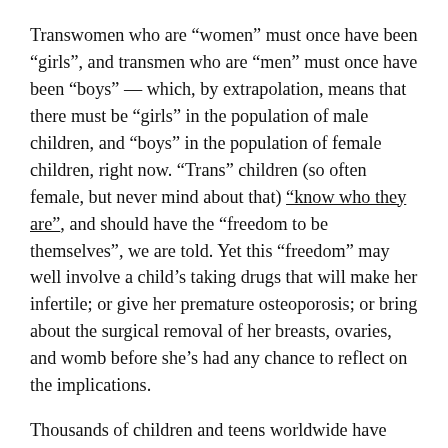Transwomen who are “women” must once have been “girls”, and transmen who are “men” must once have been “boys” — which, by extrapolation, means that there must be “girls” in the population of male children, and “boys” in the population of female children, right now. “Trans” children (so often female, but never mind about that) “know who they are”, and should have the “freedom to be themselves”, we are told. Yet this “freedom” may well involve a child’s taking drugs that will make her infertile; or give her premature osteoporosis; or bring about the surgical removal of her breasts, ovaries, and womb before she’s had any chance to reflect on the implications.
Thousands of children and teens worldwide have been encouraged by adults to thoroughly immerse themselves in this fiction – indeed, to start believing in it, full stop —